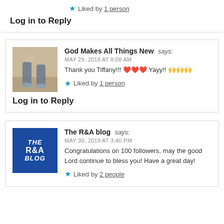★ Liked by 1 person
Log in to Reply
God Makes All Things New says: MAY 29, 2018 AT 8:08 AM
Thank you Tiffany!!! ❤️❤️❤️ Yayy!! 🙌🙌🙌
★ Liked by 1 person
Log in to Reply
The R&A blog says: MAY 30, 2018 AT 3:40 PM
Congratulations on 100 followers, may the good Lord continue to bless you! Have a great day!
★ Liked by 2 people